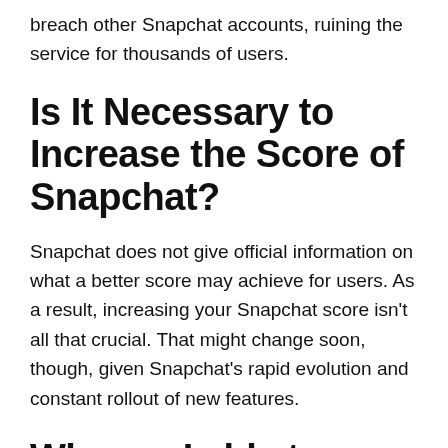breach other Snapchat accounts, ruining the service for thousands of users.
Is It Necessary to Increase the Score of Snapchat?
Snapchat does not give official information on what a better score may achieve for users. As a result, increasing your Snapchat score isn’t all that crucial. That might change soon, though, given Snapchat’s rapid evolution and constant rollout of new features.
Why am I able to